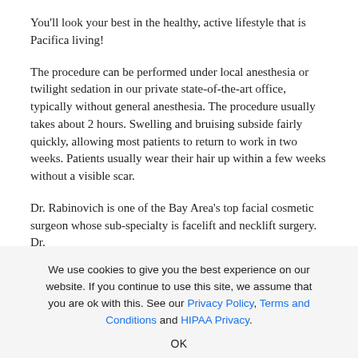You'll look your best in the healthy, active lifestyle that is Pacifica living!
The procedure can be performed under local anesthesia or twilight sedation in our private state-of-the-art office, typically without general anesthesia. The procedure usually takes about 2 hours. Swelling and bruising subside fairly quickly, allowing most patients to return to work in two weeks. Patients usually wear their hair up within a few weeks without a visible scar.
Dr. Rabinovich is one of the Bay Area's top facial cosmetic surgeon whose sub-specialty is facelift and necklift surgery. Dr. Rabinovich does not perform general body plastic surgery. He is a
We use cookies to give you the best experience on our website. If you continue to use this site, we assume that you are ok with this. See our Privacy Policy, Terms and Conditions and HIPAA Privacy.
OK